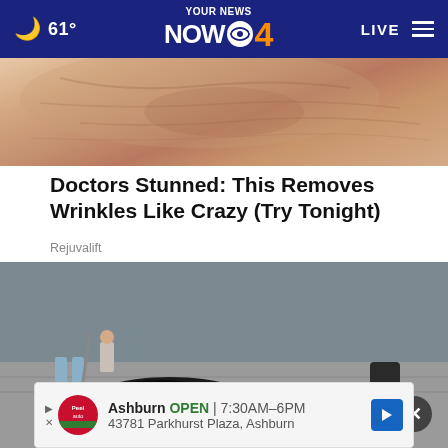61° | YOUR NEWS NOW CBS 4 | LIVE
[Figure (photo): Close-up of wrinkled skin (advertisement image)]
Doctors Stunned: This Removes Wrinkles Like Crazy (Try Tonight)
Rejuvalift
[Figure (photo): Outdoor news photo showing people on a street with debris/equipment, red cable visible]
Ashburn OPEN | 7:30AM–6PM  43781 Parkhurst Plaza, Ashburn